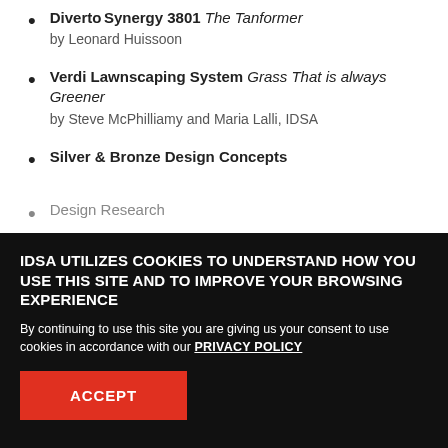Diverto Synergy 3801 The Tanformer by Leonard Huissoon
Verdi Lawnscaping System Grass That is always Greener by Steve McPhilliamy and Maria Lalli, IDSA
Silver & Bronze Design Concepts
Design Research
IDSA UTILIZES COOKIES TO UNDERSTAND HOW YOU USE THIS SITE AND TO IMPROVE YOUR BROWSING EXPERIENCE
By continuing to use this site you are giving us your consent to use cookies in accordance with our PRIVACY POLICY
ACCEPT